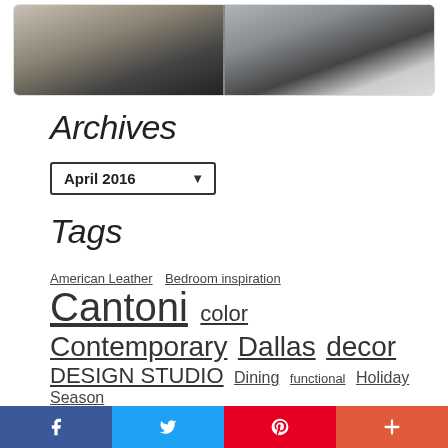[Figure (photo): Interior design photo showing a room with dark walls, plants, and decorative lighting fixtures, split into two panels]
Archives
April 2016 (dropdown)
Tags
American Leather  Bedroom inspiration  Cantoni  color  Contemporary  Dallas  decor  DESIGN STUDIO  Dining  functional  Holiday Season  home tour  hot product  Houston  innovative  Inspiration  interior design
f  (Twitter bird icon)  P  +